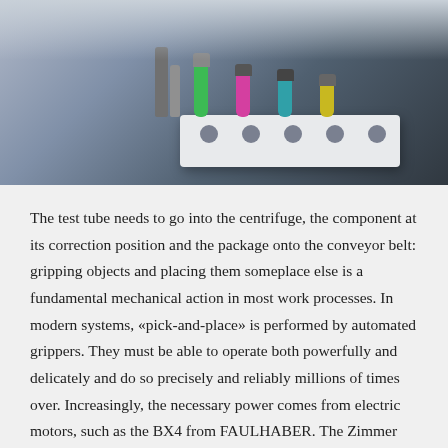[Figure (photo): A laboratory test tube rack holding multiple colored test tubes (green, pink/magenta, teal, yellow) with grey/black caps, photographed against a dark gradient background.]
The test tube needs to go into the centrifuge, the component at its correction position and the package onto the conveyor belt: gripping objects and placing them someplace else is a fundamental mechanical action in most work processes. In modern systems, «pick-and-place» is performed by automated grippers. They must be able to operate both powerfully and delicately and do so precisely and reliably millions of times over. Increasingly, the necessary power comes from electric motors, such as the BX4 from FAULHABER. The Zimmer Group uses it for,